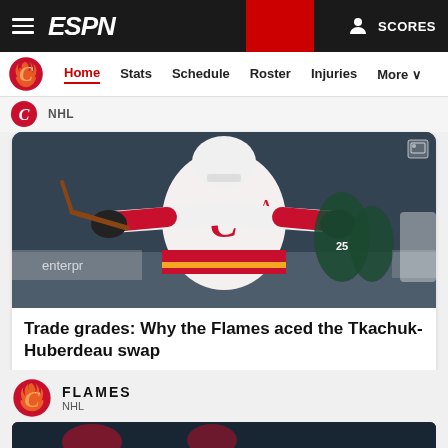ESPN - SCORES
Home  Stats  Schedule  Roster  Injuries  More
NHL
[Figure (photo): Calgary Flames hockey player in white jersey with 'C' flame logo and 'A' on chest, celebrating with arms spread wide on the ice, opponents wearing dark green jerseys in background]
Trade grades: Why the Flames aced the Tkachuk-Huberdeau swap
ESPN+ • 1M • Greg Wyshynski
FLAMES
NHL
[Figure (photo): Calgary Flames players on ice, partial view at bottom of page]